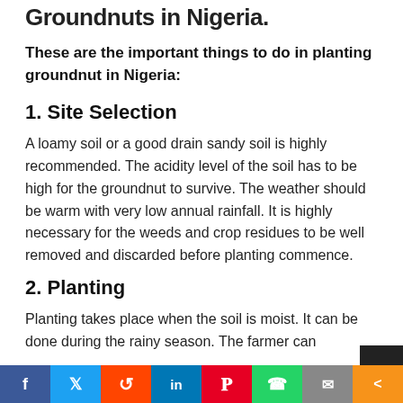Groundnuts in Nigeria.
These are the important things to do in planting groundnut in Nigeria:
1. Site Selection
A loamy soil or a good drain sandy soil is highly recommended. The acidity level of the soil has to be high for the groundnut to survive. The weather should be warm with very low annual rainfall. It is highly necessary for the weeds and crop residues to be well removed and discarded before planting commence.
2. Planting
Planting takes place when the soil is moist. It can be done during the rainy season. The farmer can also…